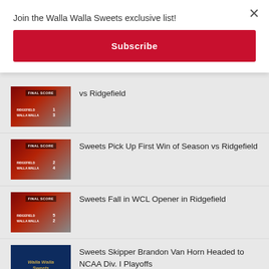Join the Walla Walla Sweets exclusive list!
Subscribe
vs Ridgefield
Sweets Pick Up First Win of Season vs Ridgefield
Sweets Fall in WCL Opener in Ridgefield
Sweets Skipper Brandon Van Horn Headed to NCAA Div. I Playoffs
Sweets Announce Final Additions Before Opening Day